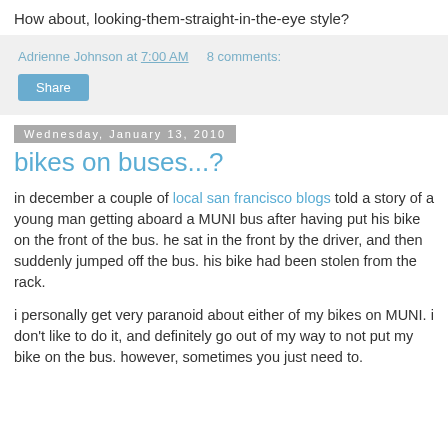How about, looking-them-straight-in-the-eye style?
Adrienne Johnson at 7:00 AM   8 comments:
Share
Wednesday, January 13, 2010
bikes on buses...?
in december a couple of local san francisco blogs told a story of a young man getting aboard a MUNI bus after having put his bike on the front of the bus. he sat in the front by the driver, and then suddenly jumped off the bus. his bike had been stolen from the rack.
i personally get very paranoid about either of my bikes on MUNI. i don't like to do it, and definitely go out of my way to not put my bike on the bus. however, sometimes you just need to.